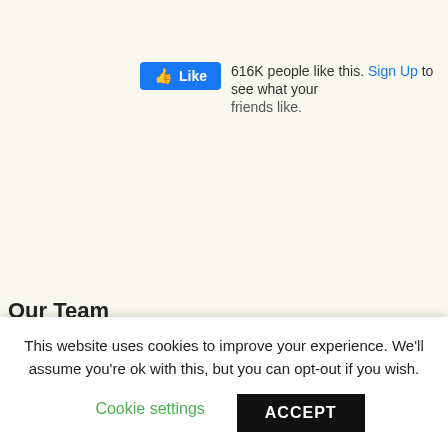[Figure (screenshot): Facebook Like button showing '616K people like this. Sign Up to see what your friends like.']
Our Team
[Figure (logo): Partial logo text in large pink serif font letters, partially cut off at bottom]
This website uses cookies to improve your experience. We'll assume you're ok with this, but you can opt-out if you wish.
Cookie settings   ACCEPT